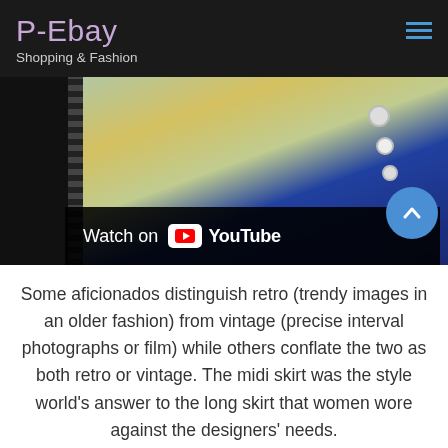P-Ebay Shopping & Fashion
[Figure (screenshot): YouTube video thumbnail showing a woman in a blue dress with a long necklace, standing near colorful items. A 'Watch on YouTube' bar is overlaid at the bottom.]
Some aficionados distinguish retro (trendy images in an older fashion) from vintage (precise interval photographs or film) while others conflate the two as both retro or vintage. The midi skirt was the style world's answer to the long skirt that women wore against the designers' needs.